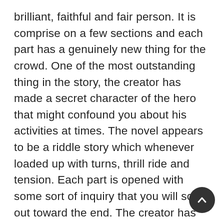brilliant, faithful and fair person. It is comprise on a few sections and each part has a genuinely new thing for the crowd. One of the most outstanding thing in the story, the creator has made a secret character of the hero that might confound you about his activities at times. The novel appears to be a riddle story which whenever loaded up with turns, thrill ride and tension. Each part is opened with some sort of inquiry that you will sort out toward the end. The creator has utilized the flashbacks to make it look even sensible. Larger part of the characters in the story has the muddled chronicles that makes their conduct looks dubious. It contains the inner talk that uplift pressure among the perusers. There are equal plot lines for bad guys and auxiliary characters which brings up mo...